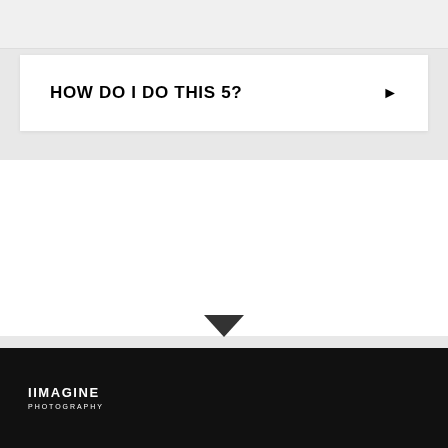HOW DO I DO THIS 5?
IIMAGINE PHOTOGRAPHY